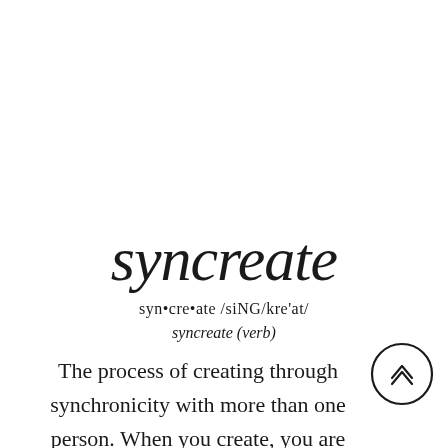syncreate
syn•cre•ate /siNG/kre'at/
syncreate (verb)
The process of creating through synchronicity with more than one person. When you create, you are